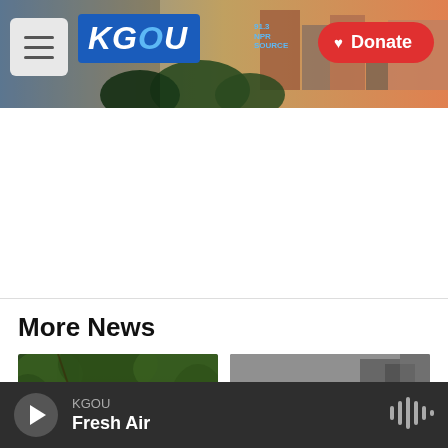KGOU | Donate
More News
[Figure (photo): Soldier in camouflage walking through dense forest/brush terrain]
[Figure (photo): Rescue workers or people walking through rubble and destruction, muddy debris]
KGOU | Fresh Air